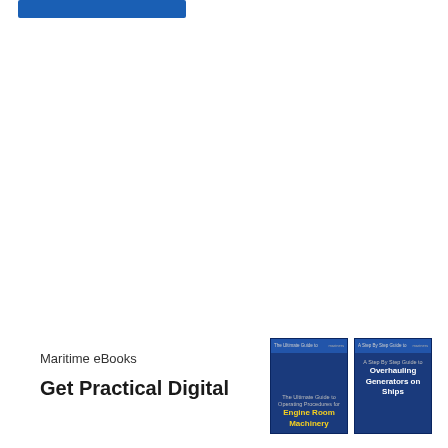[Figure (other): Blue rectangular bar/banner at top left of page]
Maritime eBooks
Get Practical Digital
[Figure (illustration): Two maritime eBook covers side by side. Left book: 'The Ultimate Guide to Operating Procedures for Engine Room Machinery'. Right book: 'A Step By Step Guide to Overhauling Generators on Ships'.]